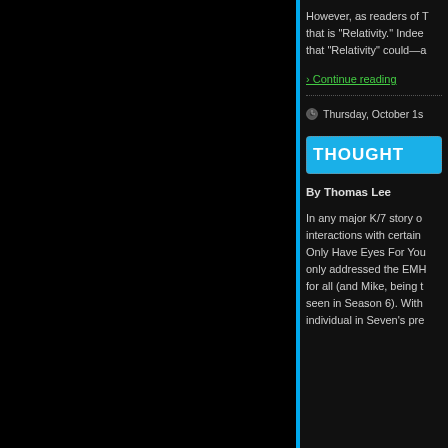However, as readers of T... that is "Relativity." Indee... that "Relativity" could—a...
› Continue reading
Thursday, October 1s...
THOUGHT
By Thomas Lee
In any major K/7 story o... interactions with certain ... Only Have Eyes For You... only addressed the EMH... for all (and Mike, being t... seen in Season 6). With ... individual in Seven's pre...